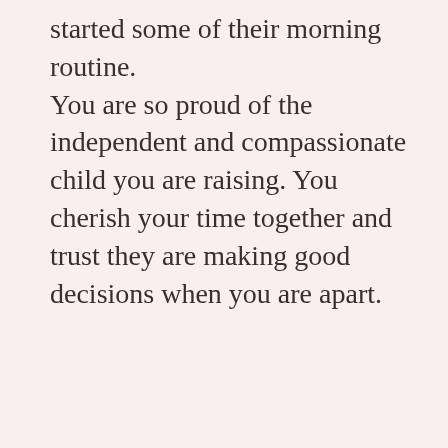started some of their morning routine. You are so proud of the independent and compassionate child you are raising. You cherish your time together and trust they are making good decisions when you are apart.